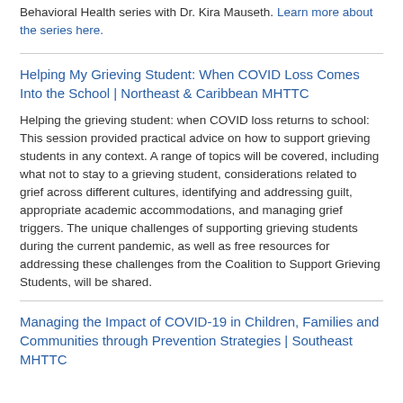Behavioral Health series with Dr. Kira Mauseth. Learn more about the series here.
Helping My Grieving Student: When COVID Loss Comes Into the School | Northeast & Caribbean MHTTC
Helping the grieving student: when COVID loss returns to school: This session provided practical advice on how to support grieving students in any context. A range of topics will be covered, including what not to stay to a grieving student, considerations related to grief across different cultures, identifying and addressing guilt, appropriate academic accommodations, and managing grief triggers. The unique challenges of supporting grieving students during the current pandemic, as well as free resources for addressing these challenges from the Coalition to Support Grieving Students, will be shared.
Managing the Impact of COVID-19 in Children, Families and Communities through Prevention Strategies | Southeast MHTTC